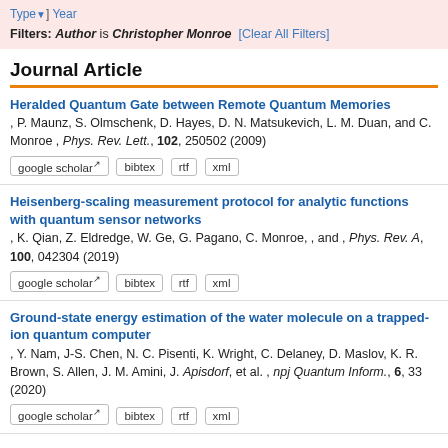Type | Year  Filters: Author is Christopher Monroe  [Clear All Filters]
Journal Article
Heralded Quantum Gate between Remote Quantum Memories, P. Maunz, S. Olmschenk, D. Hayes, D. N. Matsukevich, L. M. Duan, and C. Monroe , Phys. Rev. Lett., 102, 250502 (2009)
Heisenberg-scaling measurement protocol for analytic functions with quantum sensor networks, K. Qian, Z. Eldredge, W. Ge, G. Pagano, C. Monroe, , and , Phys. Rev. A, 100, 042304 (2019)
Ground-state energy estimation of the water molecule on a trapped-ion quantum computer, Y. Nam, J-S. Chen, N. C. Pisenti, K. Wright, C. Delaney, D. Maslov, K. R. Brown, S. Allen, J. M. Amini, J. Apisdorf, et al. , npj Quantum Inform., 6, 33 (2020)